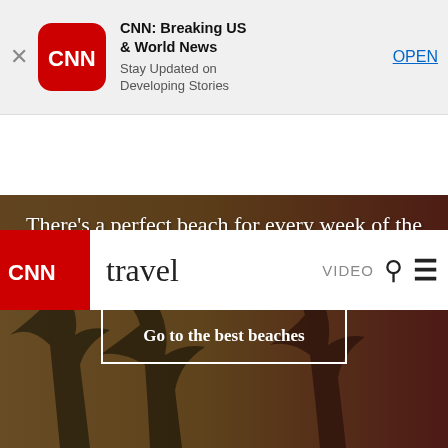[Figure (screenshot): CNN app install banner with CNN logo icon, app name 'CNN: Breaking US & World News', subtitle 'Stay Updated on Developing Stories', and OPEN button]
CNN travel | VIDEO
[Figure (photo): Background photo of a beach scene with palm trees, warm golden and reddish tones]
There's a perfect beach for every week of the year. Join us on a 12-month journey to see them all
Go to the best beaches